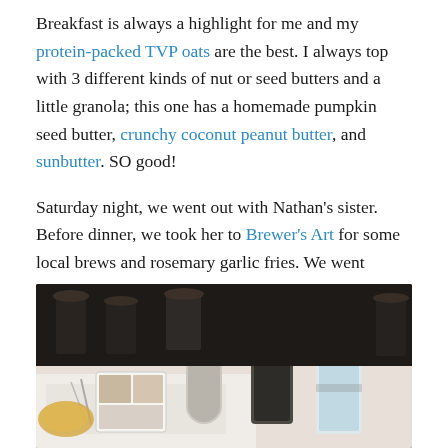Breakfast is always a highlight for me and my protein-packed TVP oats are the best. I always top with 3 different kinds of nut or seed butters and a little granola; this one has a homemade pumpkin seed butter, crunchy coconut peanut butter, and sunbutter. SO good!
Saturday night, we went out with Nathan's sister. Before dinner, we took her to Brewer's Art for some local brews and rosemary garlic fries. We went downstairs to the dark beer cave. It's a fun atmosphere with, what we refer to as "mob" rooms. I tried to take pictures of the delicious food and drink, but it was just too dark.
[Figure (photo): Restaurant table with white tablecloth, a small square dish containing condiments, a lit candle in a cylindrical holder, a dark glass, and a tall glass of water. Background shows chairs and tables in a dimly lit restaurant.]